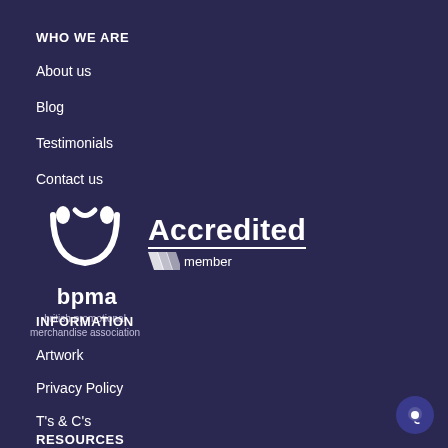WHO WE ARE
About us
Blog
Testimonials
Contact us
[Figure (logo): BPMA (British Promotional Merchandise Association) Accredited Member logo — white crown/smile icon, 'bpma' text, 'british promotional merchandise association', and 'Accredited member' badge with chevron marks]
INFORMATION
Artwork
Privacy Policy
T's & C's
RESOURCES